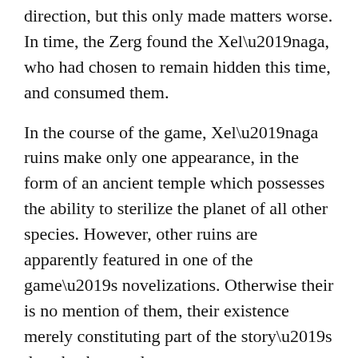direction, but this only made matters worse. In time, the Zerg found the Xel'naga, who had chosen to remain hidden this time, and consumed them.
In the course of the game, Xel'naga ruins make only one appearance, in the form of an ancient temple which possesses the ability to sterilize the planet of all other species. However, other ruins are apparently featured in one of the game's novelizations. Otherwise their is no mention of them, their existence merely constituting part of the story's deep background.
Final Thoughts:
After looking through these and other examples of ancient astronauts, a few things began to stand out. Like I said before, sooner or later aliens serve an anthropological purpose in science fiction. Or to